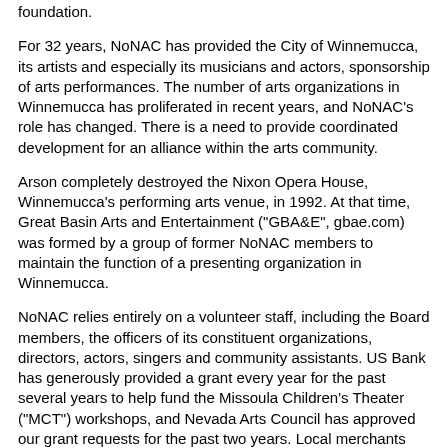foundation.
For 32 years, NoNAC has provided the City of Winnemucca, its artists and especially its musicians and actors, sponsorship of arts performances. The number of arts organizations in Winnemucca has proliferated in recent years, and NoNAC's role has changed. There is a need to provide coordinated development for an alliance within the arts community.
Arson completely destroyed the Nixon Opera House, Winnemucca's performing arts venue, in 1992. At that time, Great Basin Arts and Entertainment ("GBA&E", gbae.com) was formed by a group of former NoNAC members to maintain the function of a presenting organization in Winnemucca.
NoNAC relies entirely on a volunteer staff, including the Board members, the officers of its constituent organizations, directors, actors, singers and community assistants. US Bank has generously provided a grant every year for the past several years to help fund the Missoula Children's Theater ("MCT") workshops, and Nevada Arts Council has approved our grant requests for the past two years. Local merchants donate services and materials, and community members assist with theater setup, MCT events and publicity.
And now the plea: NoNAC owns no facilities of its own. The Winnemucca Civic Chorus performs at